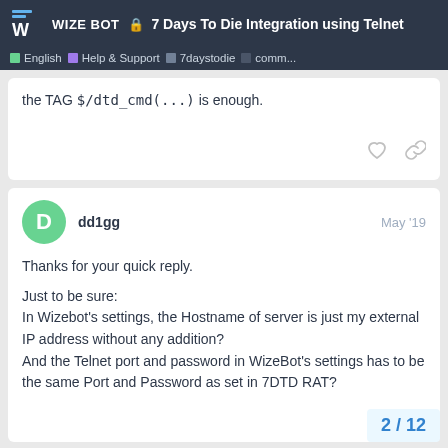7 Days To Die Integration using Telnet — WIZE BOT | English | Help & Support | 7daystodie | comm...
the TAG $/dtd_cmd(...) is enough.
dd1gg  May '19
Thanks for your quick reply.

Just to be sure:
In Wizebot's settings, the Hostname of server is just my external IP address without any addition?
And the Telnet port and password in WizeBot's settings has to be the same Port and Password as set in 7DTD RAT?
2 / 12